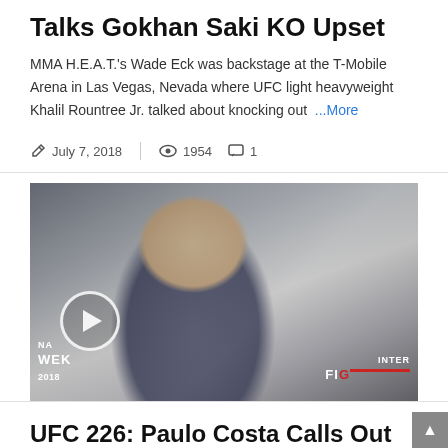Talks Gokhan Saki KO Upset
MMA H.E.A.T.'s Wade Eck was backstage at the T-Mobile Arena in Las Vegas, Nevada where UFC light heavyweight Khalil Rountree Jr. talked about knocking out ...More
July 7, 2018   1954   1
[Figure (photo): Video thumbnail showing a man in a dark suit with red tie speaking, with a play button overlay in the lower left. Watermark text visible: WEK, 2018, INTER, FIG]
UFC 226: Paulo Costa Calls Out Weidman After